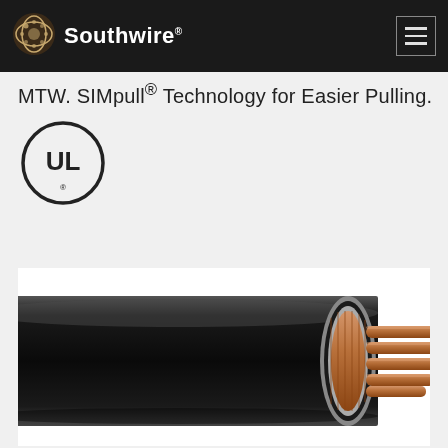Southwire
MTW. SIMpull® Technology for Easier Pulling.
[Figure (logo): UL certification mark — circle with UL letters and registered trademark symbol]
[Figure (illustration): Cross-section illustration of a black insulated MTW wire showing stranded copper conductor inside a black PVC jacket, with the cut end revealing the stranded copper strands]